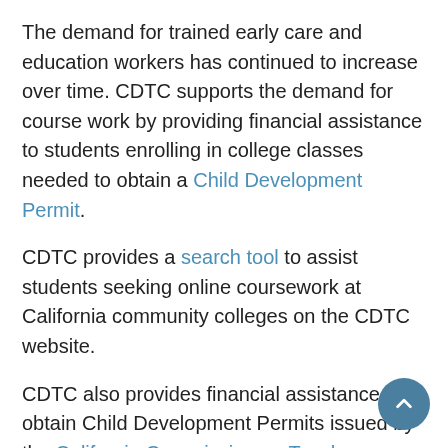The demand for trained early care and education workers has continued to increase over time. CDTC supports the demand for course work by providing financial assistance to students enrolling in college classes needed to obtain a Child Development Permit.
CDTC provides a search tool to assist students seeking online coursework at California community colleges on the CDTC website.
CDTC also provides financial assistance to obtain Child Development Permits issued by the California Commission on Teacher Credentialing.
In 2007-2008 CDTC launched the Curriculum Alignment Project (CAP). The California Early Childhood Curriculum Alignment Project supports transfer and curriculum consistency in the